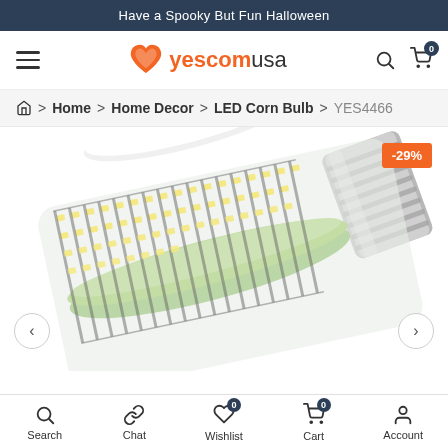Have a Spooky But Fun Halloween
[Figure (logo): YescomUSA logo with orange heart-shaped icon and text 'yescom' in orange bold and 'usa' in gray]
Home > Home Decor > LED Corn Bulb > YES4466
[Figure (photo): LED corn bulb product photo showing a cylindrical LED bulb with green collar ring, multiple LED strips, and E39 screw base, with -29% discount badge in orange]
Search  Chat  Wishlist  Cart  Account